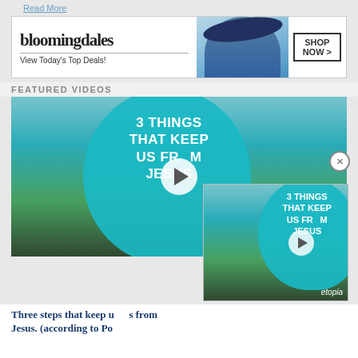Read More
[Figure (photo): Bloomingdales advertisement banner: logo text, 'View Today's Top Deals!', model in hat, SHOP NOW button]
FEATURED VIDEOS
[Figure (screenshot): Video thumbnail: '3 THINGS THAT KEEP US FROM JESUS' with teal speech bubble overlay and play button. Smaller floating video popup with same content and etopia branding, plus close X button.]
Three steps that keep us from Jesus. (according to Po
[Figure (photo): Bottom advertisement banner: Ulta beauty products images with SHOP NOW button and CLOSE overlay button]